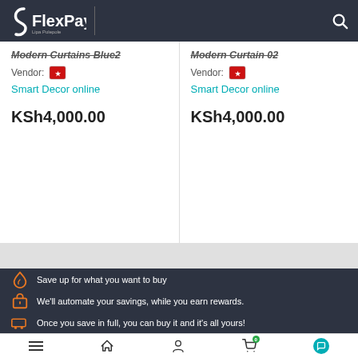FlexPay
Modern Curtains Blue2 | Vendor: Smart Decor online | KSh4,000.00
Modern Curtain 02 | Vendor: Smart Decor online | KSh4,000.00
Save up for what you want to buy
We'll automate your savings, while you earn rewards.
Once you save in full, you can buy it and it's all yours!
Navigation: Menu | Home | Profile | Cart (0) | Chat